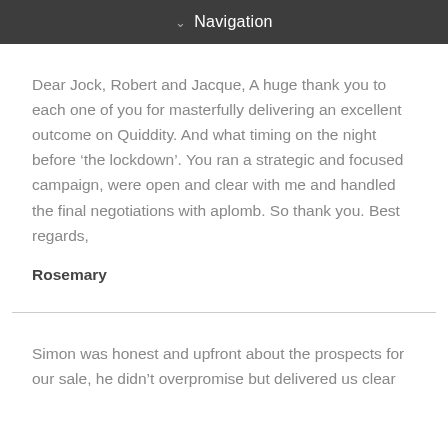Navigation
Dear Jock, Robert and Jacque, A huge thank you to each one of you for masterfully delivering an excellent outcome on Quiddity. And what timing on the night before ‘the lockdown’. You ran a strategic and focused campaign, were open and clear with me and handled the final negotiations with aplomb. So thank you. Best regards,
Rosemary
Simon was honest and upfront about the prospects for our sale, he didn’t overpromise but delivered us clear